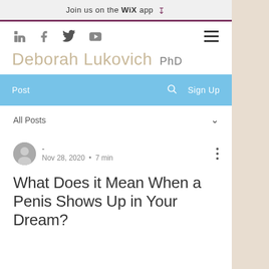Join us on the WiX app
[Figure (screenshot): Social media icons: LinkedIn, Facebook, Twitter, YouTube, and hamburger menu]
Deborah Lukovich PhD
Post  Sign Up
All Posts
- Nov 28, 2020 · 7 min
What Does it Mean When a Penis Shows Up in Your Dream?